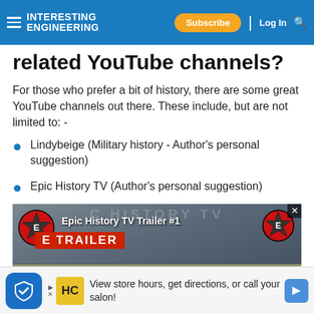Interesting Engineering — Subscribe | Log In
related YouTube channels?
For those who prefer a bit of history, there are some great YouTube channels out there. These include, but are not limited to: -
Lindybeige (Military history - Author's personal suggestion)
Epic History TV (Author's personal suggestion)
[Figure (screenshot): Video thumbnail for Epic History TV Trailer #1, showing a map with Napoleon 115,000 and Wittgenstein 96,000 troop counts, with a YouTube play button overlay.]
[Figure (screenshot): Advertisement bar: View store hours, get directions, or call your salon!]